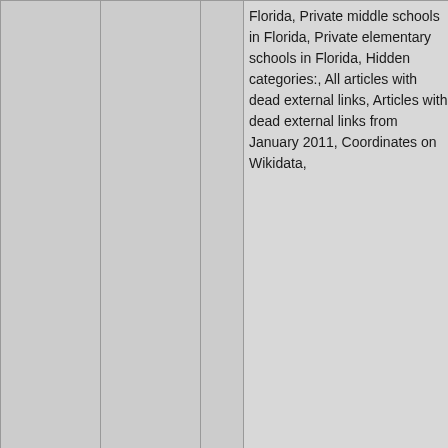| Nav | Name | Link | Categories | Photo |
| --- | --- | --- | --- | --- |
|  |  |  | Florida, Private middle schools in Florida, Private elementary schools in Florida, Hidden categories:, All articles with dead external links, Articles with dead external links from January 2011, Coordinates on Wikidata, | [photo] |
| 83: 8.1mi [icons] | Calvary Chapel Fort Lauderdale | [link icon] | Evangelical churches in Florida, Churches in Fort Lauderdale, Florida, Megachurches in the United States, Religious... |  |